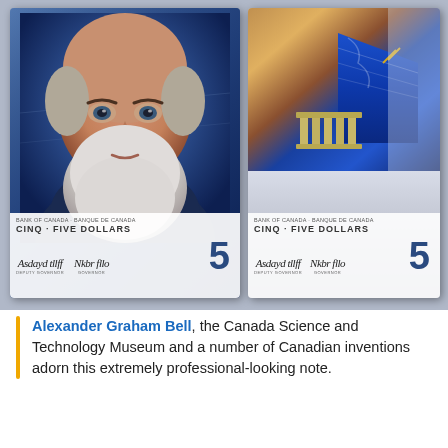[Figure (photo): Two sides of a Canadian $5 polymer banknote. Left side shows the front of the note featuring a portrait of Alexander Graham Bell (elderly man with white beard) against a blue background, with text 'BANK OF CANADA · BANQUE DE CANADA', 'CINQ · FIVE DOLLARS', two signatures labeled DEPUTY GOVERNOR and GOVERNOR, and a large numeral 5. Right side shows the back of the note featuring the Canada Science and Technology Museum building in blue tones, with similar text 'CINQ · FIVE DOLLARS', two signatures, and a large numeral 5.]
Alexander Graham Bell, the Canada Science and Technology Museum and a number of Canadian inventions adorn this extremely professional-looking note.